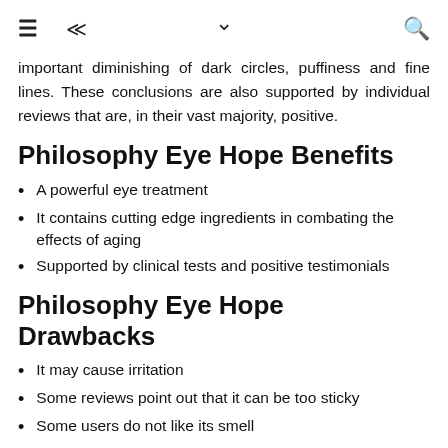≡ ⋖ ∨ 🔍
important diminishing of dark circles, puffiness and fine lines. These conclusions are also supported by individual reviews that are, in their vast majority, positive.
Philosophy Eye Hope Benefits
A powerful eye treatment
It contains cutting edge ingredients in combating the effects of aging
Supported by clinical tests and positive testimonials
Philosophy Eye Hope Drawbacks
It may cause irritation
Some reviews point out that it can be too sticky
Some users do not like its smell